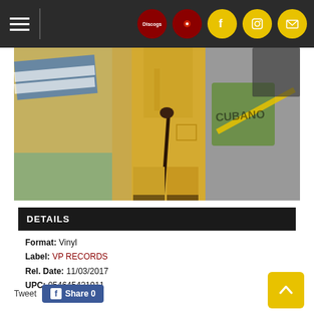Navigation bar with hamburger menu and icons: Discogs, social media (Facebook, Instagram, email)
[Figure (photo): Person in yellow suit holding a cane, standing in front of a Cuban mural with graffiti reading 'CUBANO'. Blue and white flag visible on the left.]
DETAILS
Format: Vinyl
Label: VP RECORDS
Rel. Date: 11/03/2017
UPC: 054645421911
Tweet  Share 0